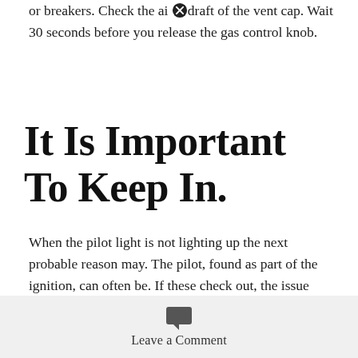or breakers. Check the air draft of the vent cap. Wait 30 seconds before you release the gas control knob.
It Is Important To Keep In.
When the pilot light is not lighting up the next probable reason may. The pilot, found as part of the ignition, can often be. If these check out, the issue could be overloaded fuses or breakers. an
Leave a Comment